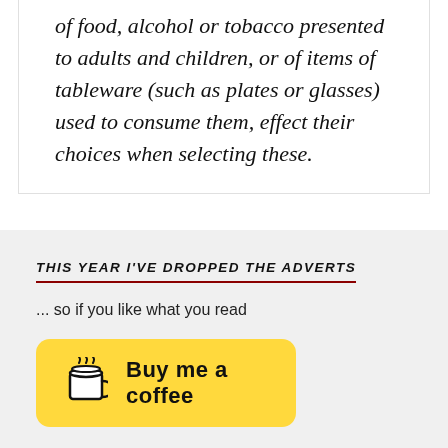of food, alcohol or tobacco presented to adults and children, or of items of tableware (such as plates or glasses) used to consume them, effect their choices when selecting these.
THIS YEAR I'VE DROPPED THE ADVERTS
... so if you like what you read
[Figure (illustration): Yellow rounded button with a coffee cup icon and text 'Buy me a coffee']